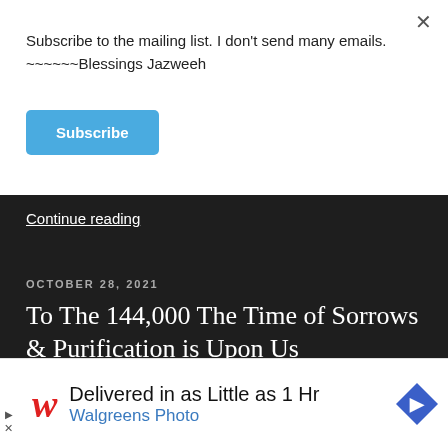Subscribe to the mailing list. I don't send many emails.
~~~~~~Blessings Jazweeh
Subscribe
Continue reading
OCTOBER 28, 2021
To The 144,000 The Time of Sorrows & Purification is Upon Us
[Figure (screenshot): Advertisement banner: Walgreens Photo - Delivered in as Little as 1 Hr]